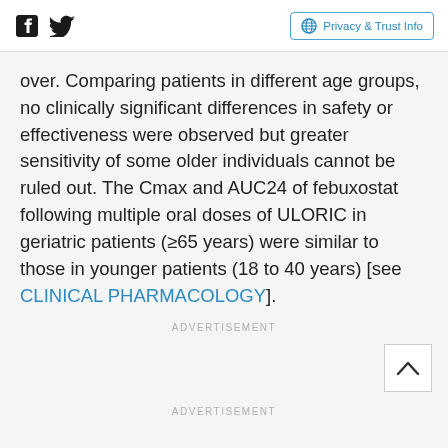Social icons and Privacy & Trust Info button
over. Comparing patients in different age groups, no clinically significant differences in safety or effectiveness were observed but greater sensitivity of some older individuals cannot be ruled out. The Cmax and AUC24 of febuxostat following multiple oral doses of ULORIC in geriatric patients (≥65 years) were similar to those in younger patients (18 to 40 years) [see CLINICAL PHARMACOLOGY].
ADVERTISEMENT
ADVERTISEMENT